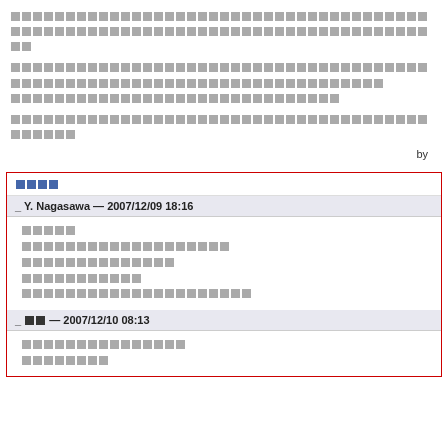[Japanese text block 1 - two lines of placeholder characters]
[Japanese text block 2 - three lines of placeholder characters]
[Japanese text block 3 - one line of placeholder characters]
by
[Japanese - 4 characters]
_ Y. Nagasawa — 2007/12/09 18:16
[Japanese comment body - 5 lines]
_ [Japanese 2 chars] — 2007/12/10 08:13
[Japanese comment body - 2 lines]